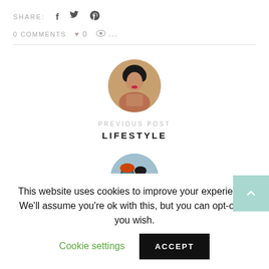SHARE: f 𝕏 ⊕
0 COMMENTS ♥ 0 👁 ...
[Figure (photo): Circular avatar photo of a woman with short dark hair and red lipstick, appearing to be in a warm-toned setting]
PREVIOUS POST
LIFESTYLE
[Figure (photo): Partially visible circular avatar photo of people, appears to show two people, one wearing a teal/blue shirt]
This website uses cookies to improve your experience. We'll assume you're ok with this, but you can opt-out if you wish.
Cookie settings   ACCEPT